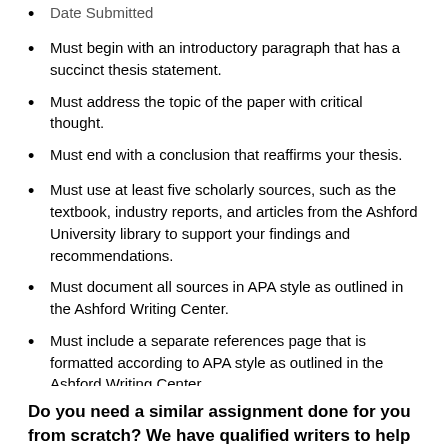Date Submitted (partial, top of page)
Must begin with an introductory paragraph that has a succinct thesis statement.
Must address the topic of the paper with critical thought.
Must end with a conclusion that reaffirms your thesis.
Must use at least five scholarly sources, such as the textbook, industry reports, and articles from the Ashford University library to support your findings and recommendations.
Must document all sources in APA style as outlined in the Ashford Writing Center.
Must include a separate references page that is formatted according to APA style as outlined in the Ashford Writing Center.
Do you need a similar assignment done for you from scratch? We have qualified writers to help